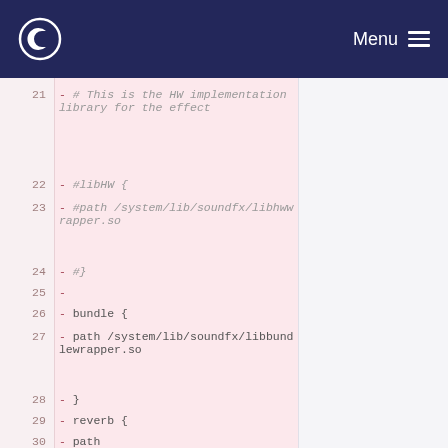e Menu
[Figure (screenshot): Code diff viewer showing lines 21-30 of a configuration file. Lines have red/pink background indicating removed lines (diff minus). Lines include commented-out HW implementation library block and bundle/reverb configuration entries with paths to system sound effect libraries.]
21 - # This is the HW implementation library for the effect
22 -   #libHW {
23 -      #path /system/lib/soundfx/libhwwrapper.so
24 -      #}
25 -
26 -   bundle {
27 -      path /system/lib/soundfx/libbundlewrapper.so
28 -   }
29 -   reverb {
30 -      path